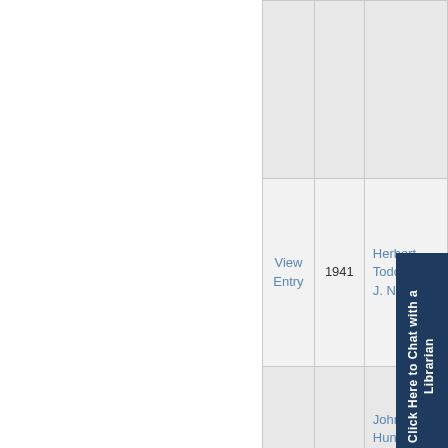| View Entry | Year | Case Name |
| --- | --- | --- |
|  |  |  |
| View Entry | 1941 | Herbert Todd v. S J. Norris |
| View Entry | 1941 | John Da Hunt v. National Linen Service Co. |
|  |  | S. R. Henderson |